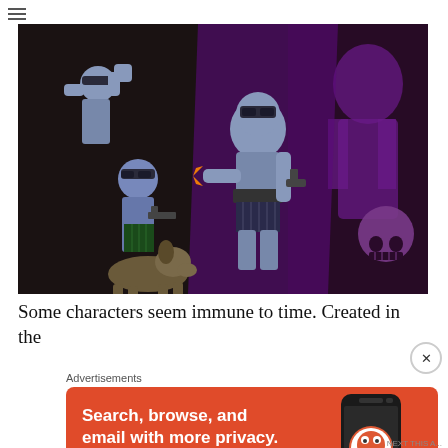[Figure (illustration): Comic book style illustration showing Phantom-like superhero characters in purple costumes with masks, holding guns, accompanied by a dog, against a dark background with purple silhouettes and a skull motif.]
Some characters seem immune to time. Created in the
[Figure (screenshot): DuckDuckGo advertisement banner in orange/red color. Text reads: Search, browse, and email with more privacy. All in One Free App. Shows a smartphone displaying the DuckDuckGo app logo.]